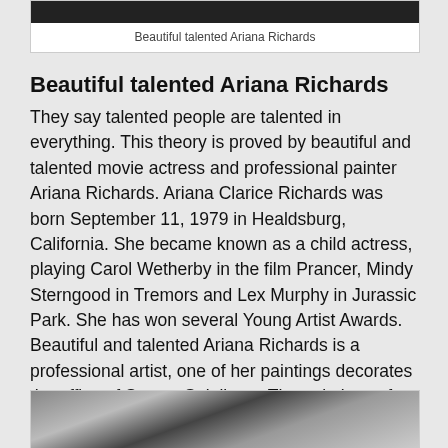Beautiful talented Ariana Richards
Beautiful talented Ariana Richards
They say talented people are talented in everything. This theory is proved by beautiful and talented movie actress and professional painter Ariana Richards. Ariana Clarice Richards was born September 11, 1979 in Healdsburg, California. She became known as a child actress, playing Carol Wetherby in the film Prancer, Mindy Sterngood in Tremors and Lex Murphy in Jurassic Park. She has won several Young Artist Awards. Beautiful and talented Ariana Richards is a professional artist, one of her paintings decorates the office of Steven Spielberg. The paintings of a successful artist Ariana Richards are usually landscapes and figures in the style of the impressionists.
[Figure (photo): Black and white photo of Ariana Richards]